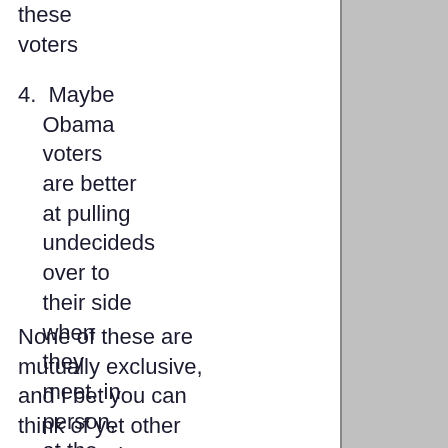these voters
4. Maybe Obama voters are better at pulling undecideds over to their side when they meet, in person, at the caucus
None of these are mutually exclusive, and I bet you can think of yet other reasons why caucuses may favor